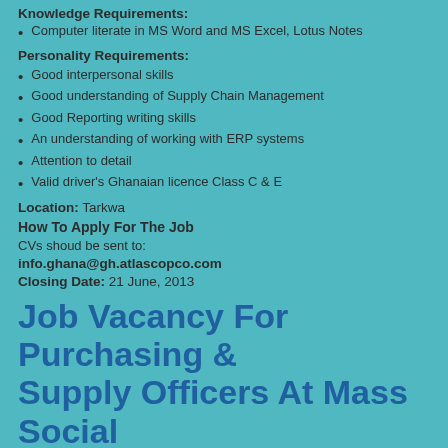Knowledge Requirements:
Computer literate in MS Word and MS Excel, Lotus Notes
Personality Requirements:
Good interpersonal skills
Good understanding of Supply Chain Management
Good Reporting writing skills
An understanding of working with ERP systems
Attention to detail
Valid driver's Ghanaian licence Class C & E
Location: Tarkwa
How To Apply For The Job
CVs shoud be sent to:
info.ghana@gh.atlascopco.com
Closing Date: 21 June, 2013
Job Vacancy For Purchasing & Supply Officers At Mass Social Well Scheme (Nationwide